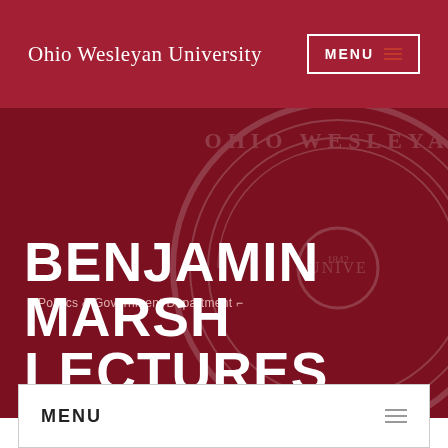Ohio Wesleyan University
[Figure (screenshot): University website header screenshot showing Ohio Wesleyan University name in white on dark red background with MENU button]
◂ Politics & Government Department ⌐
BENJAMIN MARSH LECTURES
MENU